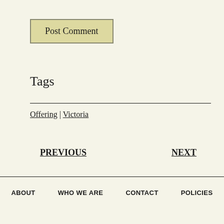Post Comment
Tags
Offering | Victoria
PREVIOUS
NEXT
ABOUT   WHO WE ARE   CONTACT   POLICIES